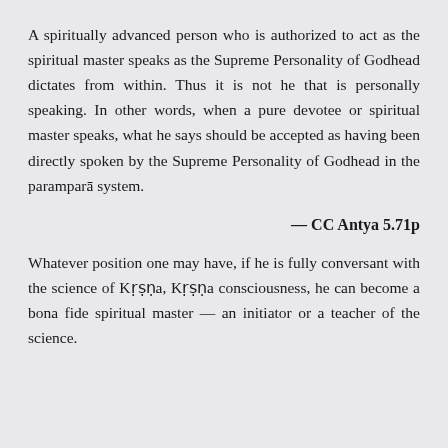A spiritually advanced person who is authorized to act as the spiritual master speaks as the Supreme Personality of Godhead dictates from within. Thus it is not he that is personally speaking. In other words, when a pure devotee or spiritual master speaks, what he says should be accepted as having been directly spoken by the Supreme Personality of Godhead in the paramparā system.
— CC Antya 5.71p
Whatever position one may have, if he is fully conversant with the science of Kṛṣṇa, Kṛṣṇa consciousness, he can become a bona fide spiritual master — an initiator or a teacher of the science.